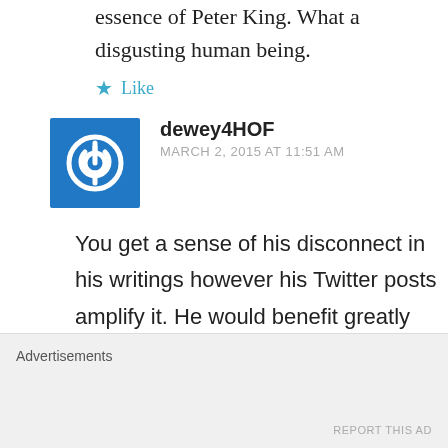essence of Peter King. What a disgusting human being.
★ Like
dewey4HOF
MARCH 2, 2015 AT 11:51 AM
You get a sense of his disconnect in his writings however his Twitter posts amplify it. He would benefit greatly from canceling his Twitter account or at the least he could hand it over to a
Advertisements